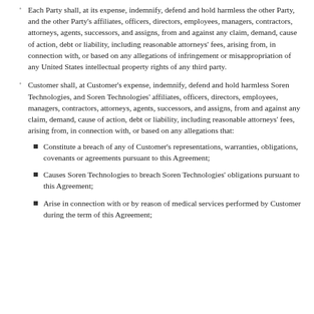Each Party shall, at its expense, indemnify, defend and hold harmless the other Party, and the other Party's affiliates, officers, directors, employees, managers, contractors, attorneys, agents, successors, and assigns, from and against any claim, demand, cause of action, debt or liability, including reasonable attorneys' fees, arising from, in connection with, or based on any allegations of infringement or misappropriation of any United States intellectual property rights of any third party.
Customer shall, at Customer's expense, indemnify, defend and hold harmless Soren Technologies, and Soren Technologies' affiliates, officers, directors, employees, managers, contractors, attorneys, agents, successors, and assigns, from and against any claim, demand, cause of action, debt or liability, including reasonable attorneys' fees, arising from, in connection with, or based on any allegations that:
Constitute a breach of any of Customer's representations, warranties, obligations, covenants or agreements pursuant to this Agreement;
Causes Soren Technologies to breach Soren Technologies' obligations pursuant to this Agreement;
Arise in connection with or by reason of medical services performed by Customer during the term of this Agreement;